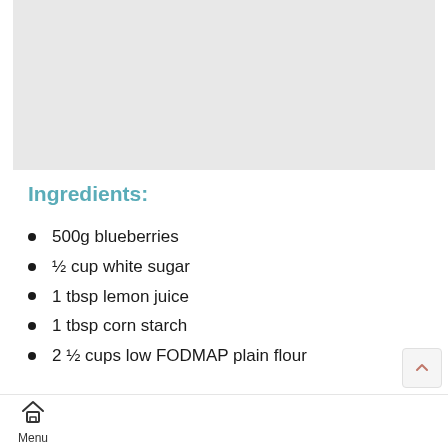[Figure (photo): Light gray placeholder image area at the top of the page]
Ingredients:
500g blueberries
½ cup white sugar
1 tbsp lemon juice
1 tbsp corn starch
2 ½ cups low FODMAP plain flour
1 tsp baking powder
Menu